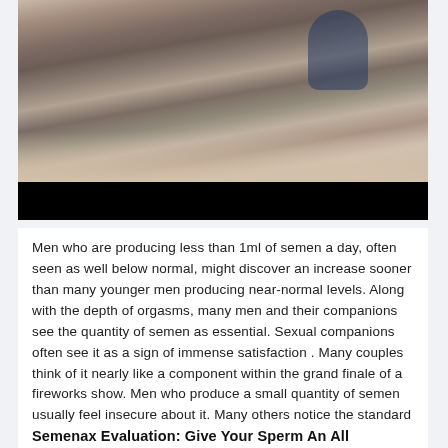[Figure (photo): A man in a camouflage t-shirt drinking from a bottle, with a black bar overlay at the bottom of the image]
Men who are producing less than 1ml of semen a day, often seen as well below normal, might discover an increase sooner than many younger men producing near-normal levels. Along with the depth of orgasms, many men and their companions see the quantity of semen as essential. Sexual companions often see it as a sign of immense satisfaction . Many couples think of it nearly like a component within the grand finale of a fireworks show. Men who produce a small quantity of semen usually feel insecure about it. Many others notice the standard and intensity of their orgasms are dwindling along with the amount of semen.
Semenax Evaluation: Give Your Sperm An All